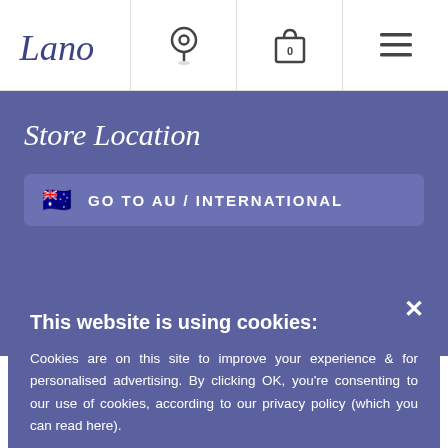[Figure (screenshot): Lano website navigation bar with logo, location pin icon, shopping bag with 0, and hamburger menu icon]
Shipping &
Store Location
GO TO AU / INTERNATIONAL
This website is using cookies:
Cookies are on this site to improve your experience & for personalised advertising. By clicking OK, you're consenting to our use of cookies, according to our privacy policy (which you can read here).
ACCEPT